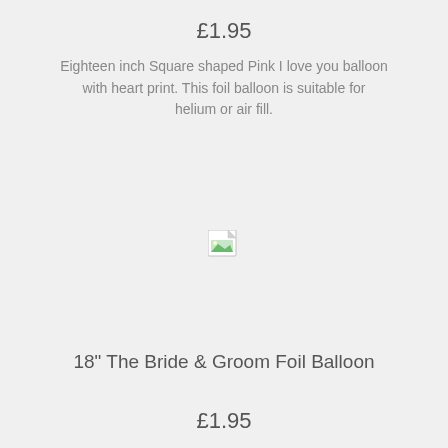£1.95
Eighteen inch Square shaped Pink I love you balloon with heart print. This foil balloon is suitable for helium or air fill.
[Figure (other): Broken image placeholder icon (small document icon with green landscape thumbnail)]
18" The Bride & Groom Foil Balloon
£1.95